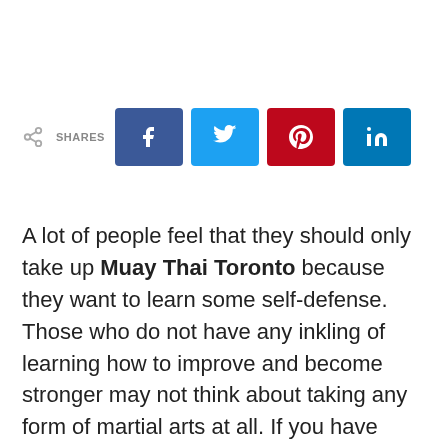[Figure (infographic): Social share bar with share icon, SHARES label, and four social media buttons: Facebook (f), Twitter (bird), Pinterest (p), LinkedIn (in)]
A lot of people feel that they should only take up Muay Thai Toronto because they want to learn some self-defense. Those who do not have any inkling of learning how to improve and become stronger may not think about taking any form of martial arts at all. If you have considered taking up this martial art but you feel a bit apprehensive about taking it, you have come to the right place. You will know right now the various reasons why